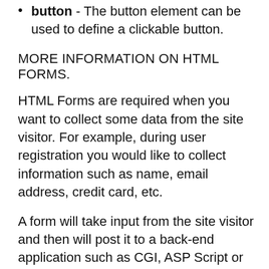button - The button element can be used to define a clickable button.
MORE INFORMATION ON HTML FORMS.
HTML Forms are required when you want to collect some data from the site visitor. For example, during user registration you would like to collect information such as name, email address, credit card, etc.
A form will take input from the site visitor and then will post it to a back-end application such as CGI, ASP Script or PHP script etc. The back-end application will perform required processing on the passed data based on defined business logic inside the application.